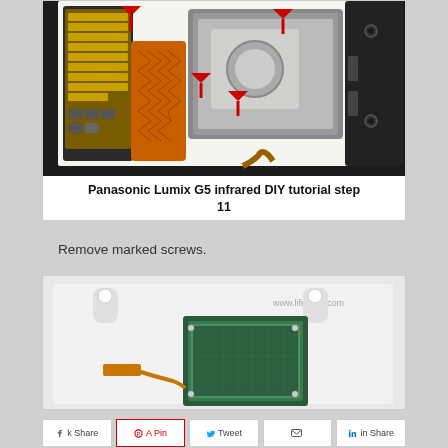[Figure (photo): Disassembled Panasonic Lumix G5 camera internals showing circuit boards, flat flex cables, and components with red arrows indicating screws to remove.]
Panasonic Lumix G5 infrared DIY tutorial step 11
Remove marked screws.
[Figure (photo): Camera image sensor assembly removed from Panasonic Lumix G5, showing green sensor chip and white mounting bracket. Watermark: www.lifepixel.com]